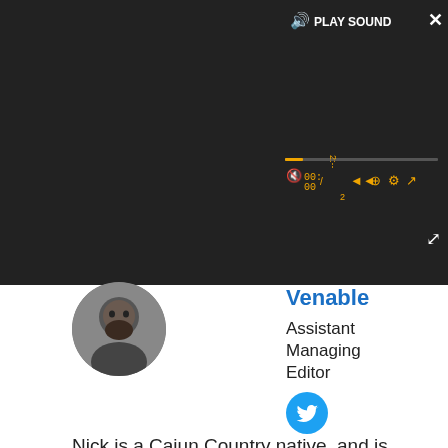[Figure (screenshot): Video player UI with dark background, play sound label, spinner/loading circle, robot icon, progress bar, playback controls showing 00:00 time, and expand icon]
[Figure (photo): Circular profile photo of a bearded man]
Venable
Assistant Managing Editor
[Figure (logo): Twitter bird icon in blue circle]
Nick is a Cajun Country native, and is often asked why he doesn't sound like that's the case. His love for his wife and daughters is almost equaled by his love of gasp-for-breath laughter and gasp-for-breath horror. A lifetime spent in the vicinity of a television screen led to his current dream job, as